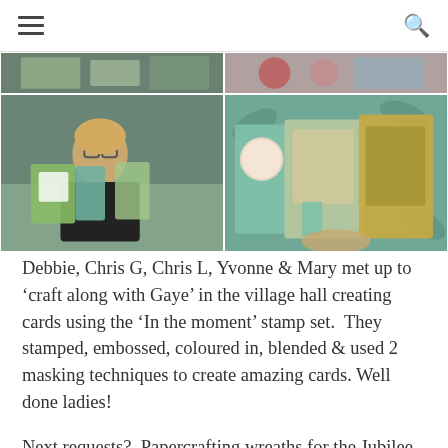Navigation menu and search icon
[Figure (photo): Two-row photo grid showing crafting session. Top row: two photos of cards and crafting materials. Bottom left: woman with blonde hair and glasses holding up handmade cards in green and teal. Bottom right: close-up of handmade cards being held up showing teal/tropical designs.]
Debbie, Chris G, Chris L, Yvonne & Mary met up to 'craft along with Gaye' in the village hall creating cards using the 'In the moment' stamp set.  They stamped, embossed, coloured in, blended & used 2 masking techniques to create amazing cards. Well done ladies!
Next requests?  Papercrafting wreaths for the Jubilee … & then 'Christmas cards'!